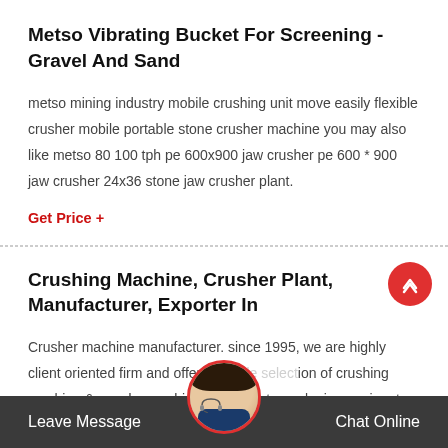Metso Vibrating Bucket For Screening - Gravel And Sand
metso mining industry mobile crushing unit move easily flexible crusher mobile portable stone crusher machine you may also like metso 80 100 tph pe 600x900 jaw crusher pe 600 * 900 jaw crusher 24x36 stone jaw crusher plant.
Get Price +
Crushing Machine, Crusher Plant, Manufacturer, Exporter In
Crusher machine manufacturer. since 1995, we are highly client oriented firm and offer the wide selection of crushing machine & powder crushing equipment. royal... is prominent crusher machine
Leave Message    Chat Online